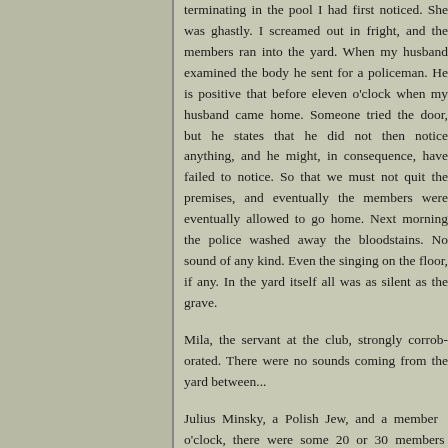terminating in the pool I had first noticed. She was ghastly. I screamed out in fright, and the members ran into the yard. When my husband examined the body he sent for a policeman. He is positive that before eleven o'clock when my husband came home. Someone tried the door, but he states that he did not then notice anything, and he might, in consequence, have failed to notice. So that we must not quit the premises, and eventually the members were eventually allowed to go home. Next morning the police washed away the bloodstains. No sound of any kind. Even the singing on the floor, if any. In the yard itself all was as silent as the grave.
Mila, the servant at the club, strongly corroborated. There were no sounds coming from the yard between...
Julius Minsky, a Polish Jew, and a member of the club, o'clock, there were some 20 or 30 members present, who were amusing themselves with singing. The member in the room, and shouted out that the body of a woman had stopped, and all present rushed downstairs into the yard. A pool of blood by the kitchen door, and then carrying a match in his hand, he noticed the body of a woman cut himself, and remained in the doorway. Even cut in the neck. He had been in the club all night, and, when the police came up they entered the club, and se...
It has been definitely ascertained that Mr...